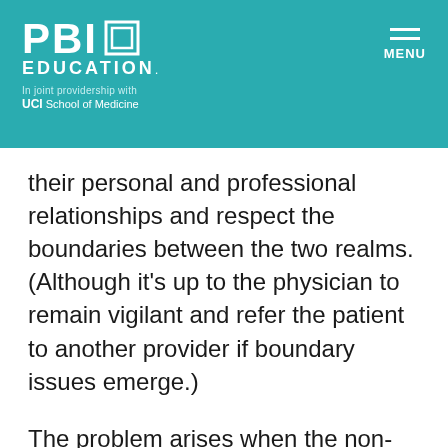[Figure (logo): PBI Education logo with UCI School of Medicine joint providership, teal header background with hamburger menu icon and MENU text]
their personal and professional relationships and respect the boundaries between the two realms. (Although it's up to the physician to remain vigilant and refer the patient to another provider if boundary issues emerge.)
The problem arises when the non-medical relationship is serious enough to compromise the doctor-patient relationship. It doesn't matter if it's romantic, friendly, familial, social or business-related—nor how confident the